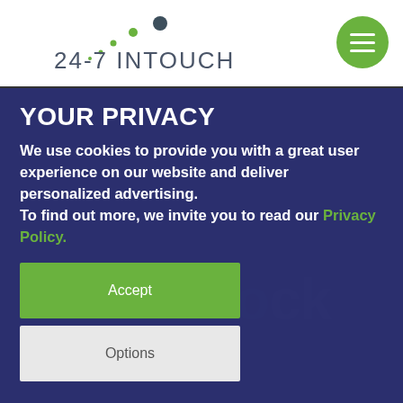[Figure (logo): 24-7 INTOUCH logo with stylized dots and text]
[Figure (other): Green circular hamburger menu button with three white horizontal lines]
YOUR PRIVACY
We use cookies to provide you with a great user experience on our website and deliver personalized advertising. To find out more, we invite you to read our Privacy Policy.
Accept
Options